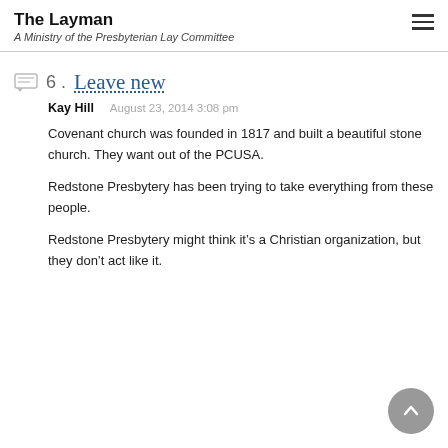The Layman
A Ministry of the Presbyterian Lay Committee
6. Leave new
Kay Hill    August 23, 2014 3:08 pm
Covenant church was founded in 1817 and built a beautiful stone church. They want out of the PCUSA.
Redstone Presbytery has been trying to take everything from these people.
Redstone Presbytery might think it’s a Christian organization, but they don’t act like it.